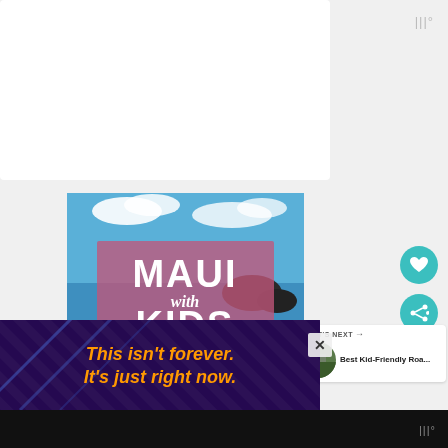[Figure (illustration): Book cover for 'Maui with Kids Travel Guide' showing tropical beach scene with palm trees, ocean, and volcanic rocks. Pink/mauve semi-transparent overlay box contains the title text in white bold letters: MAUI with KIDS TRAVEL GUIDE. Hawaii Travel Guide branding at bottom.]
[Figure (illustration): Small circular thumbnail image of a road or scenic outdoor location, used as 'What's Next' preview image.]
WHAT'S NEXT →
Best Kid-Friendly Roa...
[Figure (advertisement): Ad banner with dark purple background, diagonal blue/purple stripe lines, orange italic text reading: This isn't forever. It's just right now.]
This isn't forever. It's just right now.